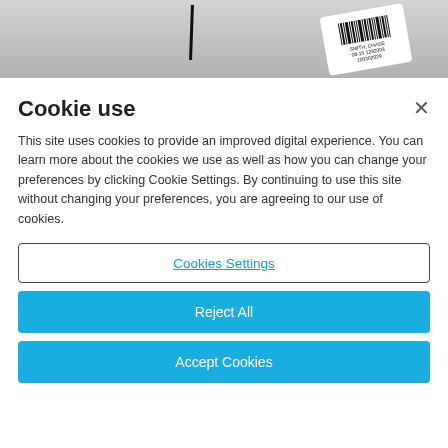[Figure (photo): Photo of a medical vial or tube with a barcode label, on a light grey background, with a thin black vertical bar visible]
Cookie use
This site uses cookies to provide an improved digital experience. You can learn more about the cookies we use as well as how you can change your preferences by clicking Cookie Settings. By continuing to use this site without changing your preferences, you are agreeing to our use of cookies.
Cookies Settings
Reject All
Accept Cookies